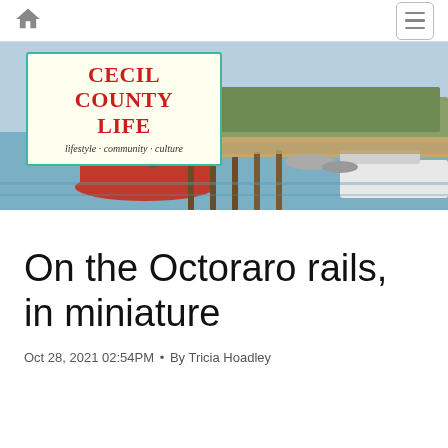[Figure (screenshot): Navigation bar with home icon on the left and hamburger menu icon on the right]
[Figure (photo): Hero banner showing boats docked at a waterfront pier with water and trees in the background, overlaid with the Cecil County Life magazine logo]
On the Octoraro rails, in miniature
Oct 28, 2021 02:54PM • By Tricia Hoadley